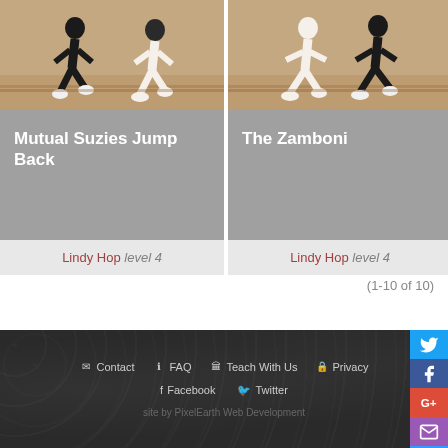[Figure (photo): Dance instruction video thumbnail showing two people dancing, wooden floor background - Mutual Suzies Jump Back]
Mutual Suzies Jump Back
Lindy Hop level 4
[Figure (photo): Dance instruction video thumbnail showing two people dancing, wooden floor background - The Zamboni]
The Zamboni
Lindy Hop level 4
(1-10 of 10)
Contact  FAQ  Teach With Us  Privacy  Facebook  Twitter  site by PixelEarth Web Development